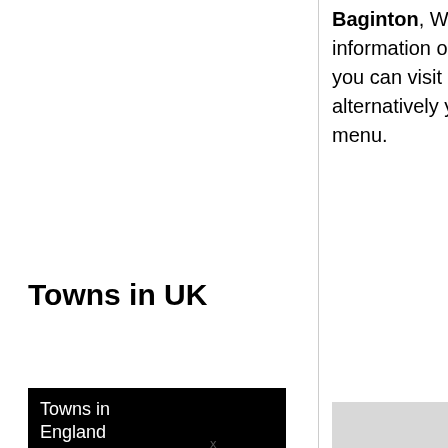Baginton, Warwickshire. For more information on other towns in Warwickshire, you can visit our Towns in Warwickshire page, alternatively you can use the navigation menu.
Towns in UK
Towns in England
Towns in Northern Ireland
Towns in Scotland
Towns in Wales
[Figure (map): Road map showing Stonebridge Hwy intersection area with Leaf Ln and Howes Ln, rendered in yellow/orange road style on light grey background]